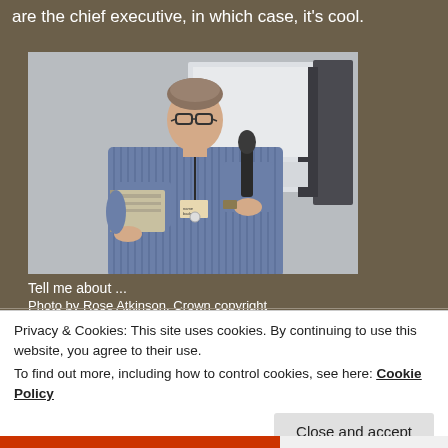are the chief executive, in which case, it's cool.
[Figure (photo): A man wearing glasses and a blue striped shirt, holding a microphone and a book/document, with a conference name badge lanyard, standing in front of a projected screen. He appears to be presenting or speaking at an event.]
Tell me about ...
Photo by Rose Atkinson, Crown copyright
Privacy & Cookies: This site uses cookies. By continuing to use this website, you agree to their use.
To find out more, including how to control cookies, see here: Cookie Policy
Close and accept